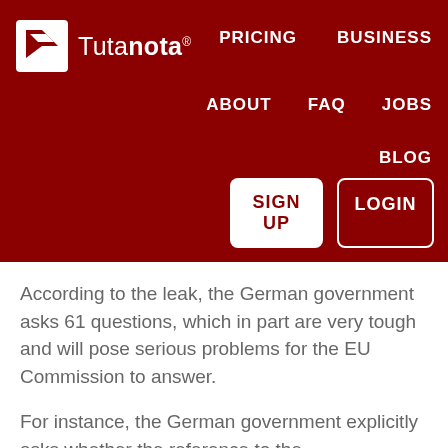[Figure (logo): Tutanota logo — white bird/letter icon on dark red background with the word 'Tutanota' and a registered trademark symbol]
PRICING   BUSINESS   ABOUT   FAQ   JOBS   BLOG
SIGN UP   LOGIN
According to the leak, the German government asks 61 questions, which in part are very tough and will pose serious problems for the EU Commission to answer.
For instance, the German government explicitly asks whether the reference to the